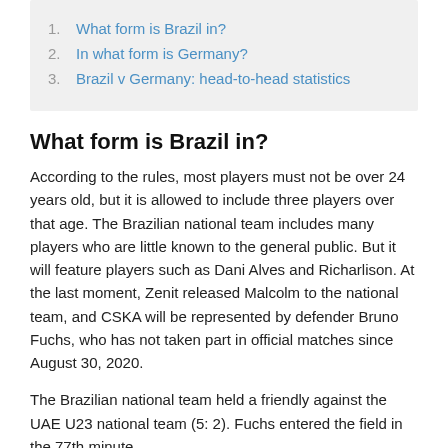1. What form is Brazil in?
2. In what form is Germany?
3. Brazil v Germany: head-to-head statistics
What form is Brazil in?
According to the rules, most players must not be over 24 years old, but it is allowed to include three players over that age. The Brazilian national team includes many players who are little known to the general public. But it will feature players such as Dani Alves and Richarlison. At the last moment, Zenit released Malcolm to the national team, and CSKA will be represented by defender Bruno Fuchs, who has not taken part in official matches since August 30, 2020.
The Brazilian national team held a friendly against the UAE U23 national team (5: 2). Fuchs entered the field in the 77th minute.